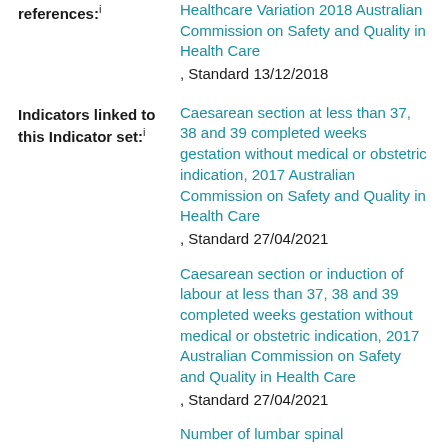references: i   Healthcare Variation 2018 Australian Commission on Safety and Quality in Health Care, Standard 13/12/2018
Indicators linked to this Indicator set: i
Caesarean section at less than 37, 38 and 39 completed weeks gestation without medical or obstetric indication, 2017 Australian Commission on Safety and Quality in Health Care, Standard 27/04/2021
Caesarean section or induction of labour at less than 37, 38 and 39 completed weeks gestation without medical or obstetric indication, 2017 Australian Commission on Safety and Quality in Health Care, Standard 27/04/2021
Number of lumbar spinal